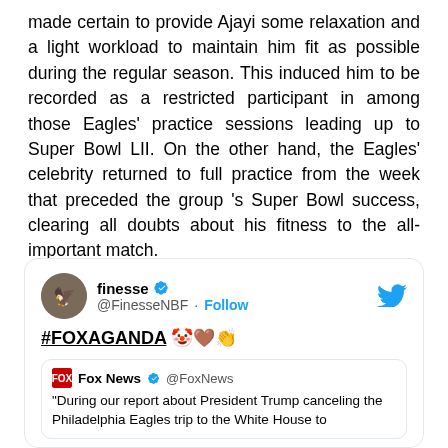made certain to provide Ajayi some relaxation and a light workload to maintain him fit as possible during the regular season. This induced him to be recorded as a restricted participant in among those Eagles' practice sessions leading up to Super Bowl LII. On the other hand, the Eagles' celebrity returned to full practice from the week that preceded the group 's Super Bowl success, clearing all doubts about his fitness to the all-important match.
[Figure (screenshot): A tweet from @FinesseNBF with the text '#FOXAGANDA 🤡👏👏' quoting a Fox News tweet about President Trump canceling the Philadelphia Eagles trip to the White House.]